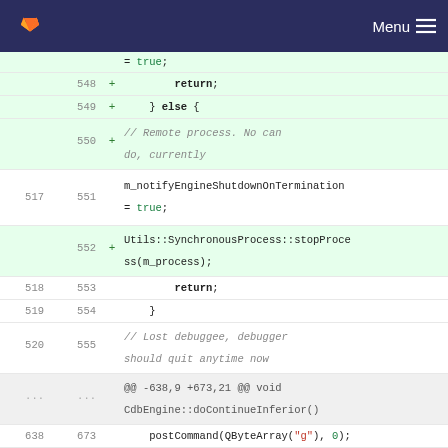[Figure (screenshot): GitLab diff view screenshot showing code changes in a C++ file, with line numbers, added lines (green background with +), and context lines.]
GitLab navigation header with logo and Menu button
= true;
548 + return;
549 + } else {
550 + // Remote process. No can do, currently
517 551 m_notifyEngineShutdownOnTermination = true;
552 + Utils::SynchronousProcess::stopProcess(m_process);
518 553 return;
519 554 }
520 555 // Lost debuggee, debugger should quit anytime now
... ... @@ -638,9 +673,21 @@ void CdbEngine::doContinueInferior()
638 673 postCommand(QByteArray("g"), 0);
639 674 }
640 675 
676 + bool